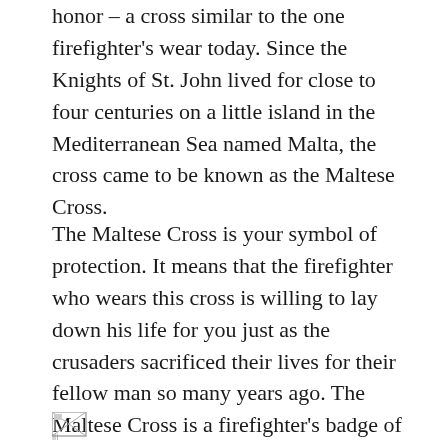honor – a cross similar to the one firefighter's wear today. Since the Knights of St. John lived for close to four centuries on a little island in the Mediterranean Sea named Malta, the cross came to be known as the Maltese Cross.
The Maltese Cross is your symbol of protection. It means that the firefighter who wears this cross is willing to lay down his life for you just as the crusaders sacrificed their lives for their fellow man so many years ago. The Maltese Cross is a firefighter's badge of honor, signifying that he works in courage – a ladder rung away from death.
[Figure (other): Small broken/placeholder image icon at the bottom left of the page]